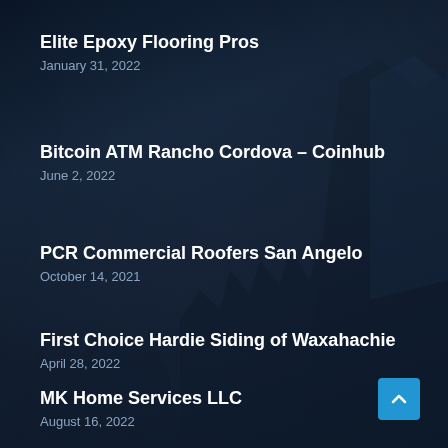Elite Epoxy Flooring Pros
January 31, 2022
Bitcoin ATM Rancho Cordova – Coinhub
June 2, 2022
PCR Commercial Roofers San Angelo
October 14, 2021
First Choice Hardie Siding of Waxahachie
April 28, 2022
MK Home Services LLC
August 16, 2022